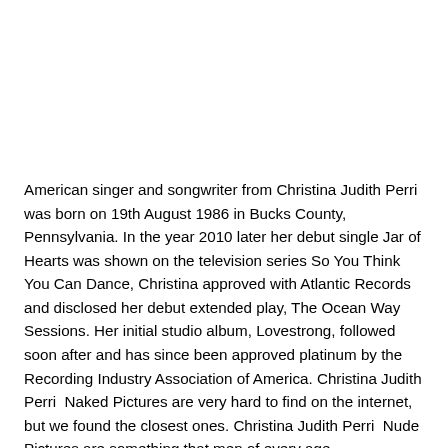American singer and songwriter from Christina Judith Perri was born on 19th August 1986 in Bucks County, Pennsylvania. In the year 2010 later her debut single Jar of Hearts was shown on the television series So You Think You Can Dance, Christina approved with Atlantic Records and disclosed her debut extended play, The Ocean Way Sessions. Her initial studio album, Lovestrong, followed soon after and has since been approved platinum by the Recording Industry Association of America. Christina Judith Perri  Naked Pictures are very hard to find on the internet, but we found the closest ones. Christina Judith Perri  Nude Pictures are something that men of every age